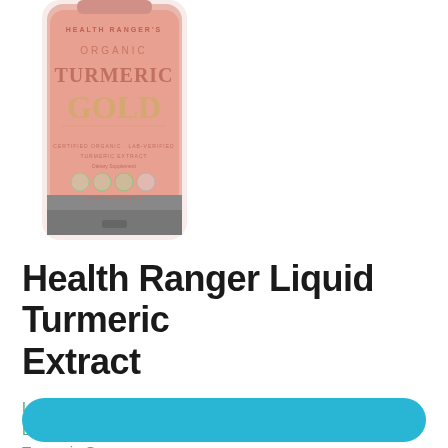[Figure (photo): A bottle of Health Ranger Organic Turmeric Gold liquid extract supplement. The bottle has a pink/salmon label with gold decorative text reading 'ORGANIC TURMERIC GOLD'. Subtitle text reads 'CERTIFIED ORGANIC LAB-VERIFIED TURMERIC EXTRACT Dietary Supplement'. The bottle has a dark bottom and cap. Net contents 2 FL OZ (59 mL).]
Health Ranger Liquid Turmeric Extract
Leave a Comment / Turmeric Curcumin Product Reviews / By Turmeric Guru